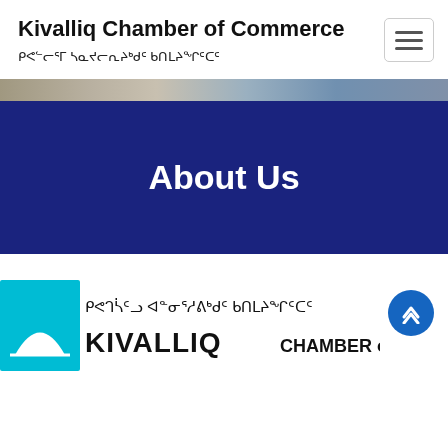Kivalliq Chamber of Commerce
ᑭᕙᓪᓕᕐᒥ ᓴᓇᔪᓕᕆᔨᒃᑯᑦ ᑲᑎᒪᔨᖏᑦᑕᑦ
About Us
[Figure (logo): Kivalliq Chamber of Commerce logo with cyan square icon and Inuktitut syllabics text above English text KIVALLIQ CHAMBER of]